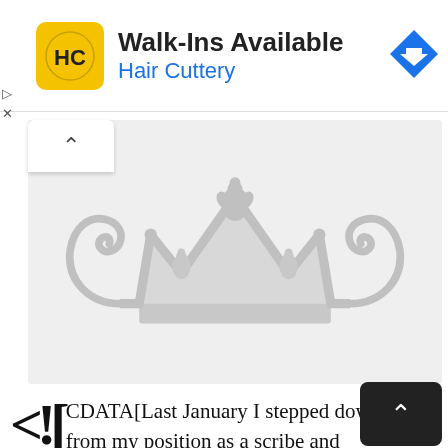[Figure (illustration): Hair Cuttery advertisement banner with yellow logo icon showing HC initials, bold text 'Walk-Ins Available', subtitle 'Hair Cuttery' in blue, and a blue diamond arrow navigation icon on the right.]
[Figure (illustration): Large decorative crown illustration in light gray on a light gray background, centered in the content area.]
CDATA[Last January I stepped down from my position as a scribe and illuminator to Her Majesty the Queen to focus completely on my fine art. Before I close that